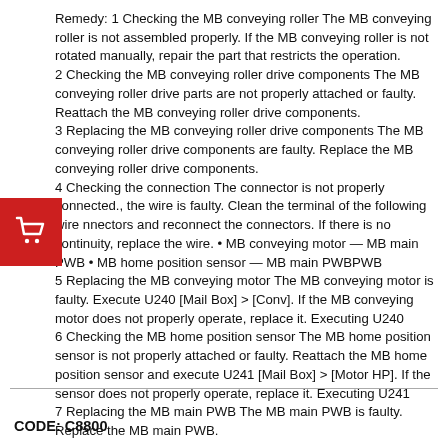Remedy: 1 Checking the MB conveying roller The MB conveying roller is not assembled properly. If the MB conveying roller is not rotated manually, repair the part that restricts the operation. 2 Checking the MB conveying roller drive components The MB conveying roller drive parts are not properly attached or faulty. Reattach the MB conveying roller drive components. 3 Replacing the MB conveying roller drive components The MB conveying roller drive components are faulty. Replace the MB conveying roller drive components. 4 Checking the connection The connector is not properly connected., the wire is faulty. Clean the terminal of the following wire nnectors and reconnect the connectors. If there is no continuity, replace the wire. • MB conveying motor — MB main PWB • MB home position sensor — MB main PWBPWB 5 Replacing the MB conveying motor The MB conveying motor is faulty. Execute U240 [Mail Box] > [Conv]. If the MB conveying motor does not properly operate, replace it. Executing U240 6 Checking the MB home position sensor The MB home position sensor is not properly attached or faulty. Reattach the MB home position sensor and execute U241 [Mail Box] > [Motor HP]. If the sensor does not properly operate, replace it. Executing U241 7 Replacing the MB main PWB The MB main PWB is faulty. Replace the MB main PWB.
CODE: C8800